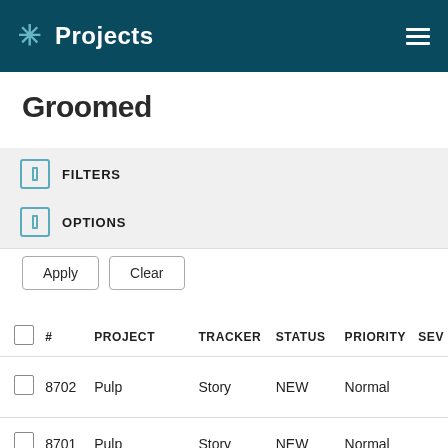Projects
Groomed
FILTERS
OPTIONS
Apply   Clear
|  | # | PROJECT | TRACKER | STATUS | PRIORITY | SEV |
| --- | --- | --- | --- | --- | --- | --- |
|  | 8702 | Pulp | Story | NEW | Normal |  |
|  | 8701 | Pulp | Story | NEW | Normal |  |